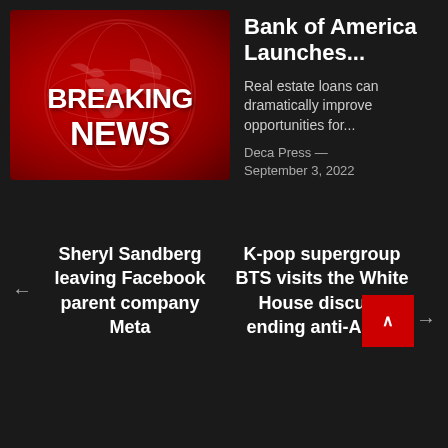[Figure (illustration): Breaking News graphic with red globe background and white bold text reading BREAKING NEWS]
Bank of America Launches...
Real estate loans can dramatically improve opportunities for...
Deca Press — September 3, 2022
Sheryl Sandberg leaving Facebook parent company Meta
K-pop supergroup BTS visits the White House discuss ending anti-Asian